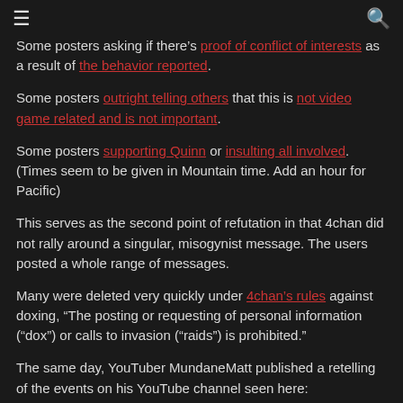≡  🔍
Some posters asking if there's proof of conflict of interests as a result of the behavior reported.
Some posters outright telling others that this is not video game related and is not important.
Some posters supporting Quinn or insulting all involved. (Times seem to be given in Mountain time. Add an hour for Pacific)
This serves as the second point of refutation in that 4chan did not rally around a singular, misogynist message. The users posted a whole range of messages.
Many were deleted very quickly under 4chan's rules against doxing, "The posting or requesting of personal information ("dox") or calls to invasion ("raids") is prohibited."
The same day, YouTuber MundaneMatt published a retelling of the events on his YouTube channel seen here: